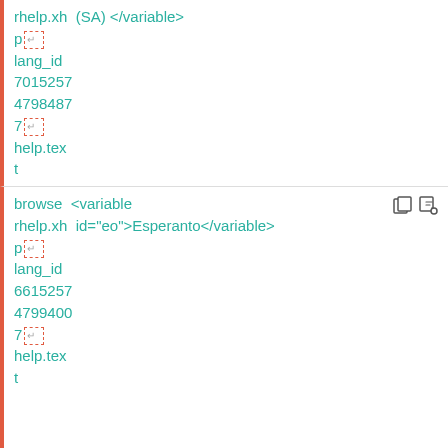rhelp.xh (SA) </variable>
p [icon]
lang_id
7015257
4798487
7 [icon]
help.text
browse  <variable  id="eo">Esperanto</variable>
rhelp.xh
p [icon]
lang_id
6615257
4799400
7 [icon]
help.text
browse  <variable